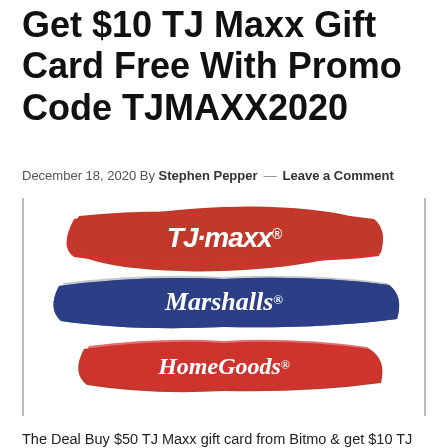Get $10 TJ Maxx Gift Card Free With Promo Code TJMAXX2020
December 18, 2020 By Stephen Pepper — Leave a Comment
[Figure (logo): TJ Maxx, Marshalls, and HomeGoods logos shown on red and blue painted brush strokes]
The Deal Buy $50 TJ Maxx gift card from Bitmo & get $10 TJ Maxx gift card free when using promo code TJMAXX2020. Direct link to offer (My referral link. You'll